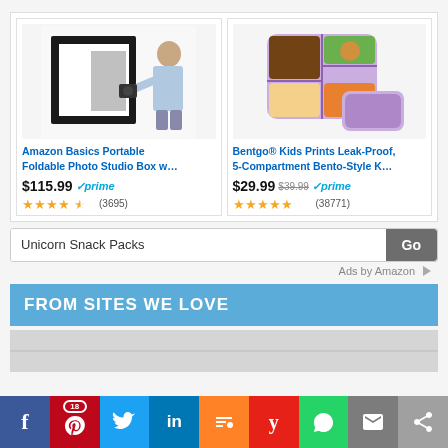[Figure (screenshot): Amazon ad: Amazon Basics Portable Foldable Photo Studio Box - photo of person using large black photo studio box with camera]
Amazon Basics Portable Foldable Photo Studio Box w…
$115.99 ✓prime
★★★★½ (3695)
[Figure (photo): Amazon ad: Bentgo Kids Prints Leak-Proof 5-Compartment Bento-Style K… - purple and lavender bento lunch box with food compartments]
Bentgo® Kids Prints Leak-Proof, 5-Compartment Bento-Style K…
$29.99 $39.99 ✓prime
★★★★★ (38771)
Unicorn Snack Packs
Ads by Amazon ▷
FROM SITES WE LOVE